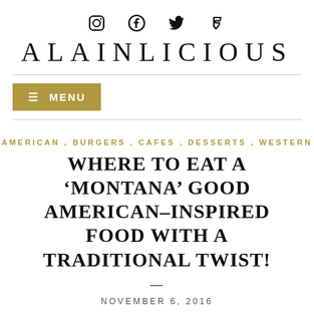ALAINLICIOUS
[Figure (other): Social media icons: Instagram, Facebook, Twitter, Foursquare]
ALAINLICIOUS
MENU
AMERICAN , BURGERS , CAFES , DESSERTS , WESTERN
WHERE TO EAT A 'MONTANA' GOOD AMERICAN–INSPIRED FOOD WITH A TRADITIONAL TWIST!
NOVEMBER 6, 2016